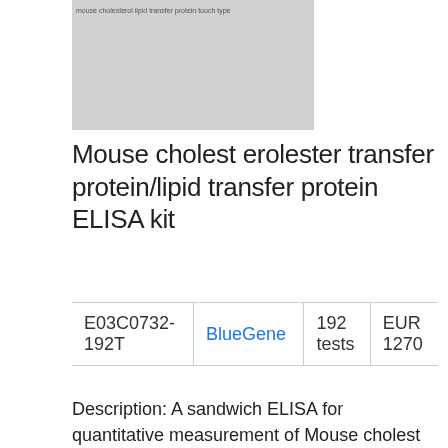[Figure (photo): Product image placeholder with small text overlay]
Mouse cholest erolester transfer protein/lipid transfer protein ELISA kit
|  |  |  |  |
| --- | --- | --- | --- |
| E03C0732-192T | BlueGene | 192 tests | EUR 1270 |
Description: A sandwich ELISA for quantitative measurement of Mouse cholest erolester transfer protein/lipid transfer protein in samples from blood, plasma, serum, cell culture supernatant and other biological fluids. This is a high quality ELISA kit developped for optimal performance with